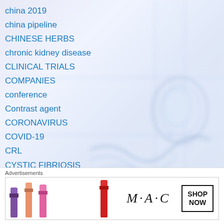china 2019
china pipeline
CHINESE HERBS
chronic kidney disease
CLINICAL TRIALS
COMPANIES
conference
Contrast agent
CORONAVIRUS
COVID-19
CRL
CYSTIC FIBRIOSIS
Dengue
DIABETES
DNDi
Drug discovery
[Figure (illustration): Blurred background with DNA/map illustration in blue tones on right side]
Advertisements
[Figure (screenshot): MAC cosmetics advertisement banner showing lipsticks, MAC logo, and SHOP NOW button]